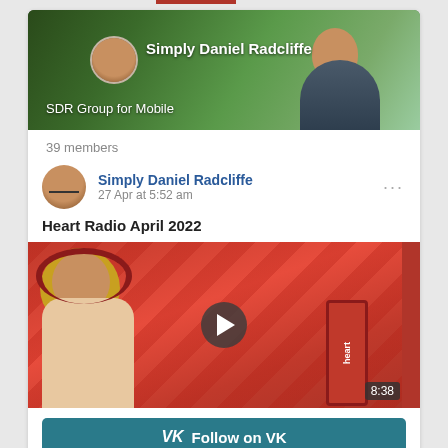[Figure (screenshot): VK social media group page screenshot showing 'Simply Daniel Radcliffe' group with banner image, member count, post by Simply Daniel Radcliffe dated 27 Apr at 5:52 am, text 'Heart Radio April 2022', video thumbnail of woman at radio station with play button and 8:38 duration, and Follow on VK button]
39 members
Simply Daniel Radcliffe
27 Apr at 5:52 am
Heart Radio April 2022
8:38
Follow on VK